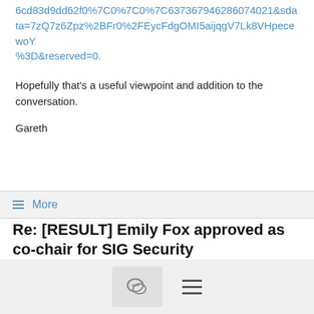6cd83d9dd62f0%7C0%7C0%7C637367946286074021&amp;sdata=7zQ7z6Zpz%2BFr0%2FEycFdgOMI5aijqgV7Lk8VHpecewoY%3D&amp;reserved=0.
Hopefully that's a useful viewpoint and addition to the conversation.
Gareth
More
Re: [RESULT] Emily Fox approved as co-chair for SIG Security
Santiago Torres Arias <santiago@...>  9/28/20